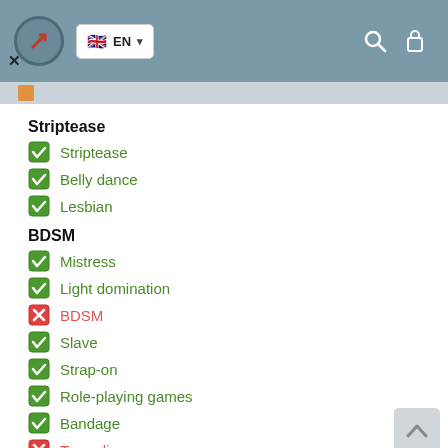EN
Striptease
Striptease
Belly dance
Lesbian
BDSM
Mistress
Light domination
BDSM
Slave
Strap-on
Role-playing games
Bandage
Trampling
Caress